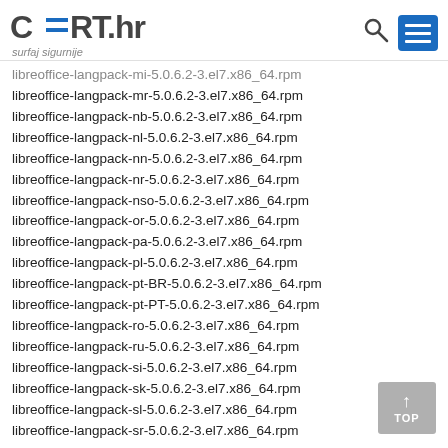CERT.hr - surfaj sigurnije
libreoffice-langpack-mi-5.0.6.2-3.el7.x86_64.rpm
libreoffice-langpack-mr-5.0.6.2-3.el7.x86_64.rpm
libreoffice-langpack-nb-5.0.6.2-3.el7.x86_64.rpm
libreoffice-langpack-nl-5.0.6.2-3.el7.x86_64.rpm
libreoffice-langpack-nn-5.0.6.2-3.el7.x86_64.rpm
libreoffice-langpack-nr-5.0.6.2-3.el7.x86_64.rpm
libreoffice-langpack-nso-5.0.6.2-3.el7.x86_64.rpm
libreoffice-langpack-or-5.0.6.2-3.el7.x86_64.rpm
libreoffice-langpack-pa-5.0.6.2-3.el7.x86_64.rpm
libreoffice-langpack-pl-5.0.6.2-3.el7.x86_64.rpm
libreoffice-langpack-pt-BR-5.0.6.2-3.el7.x86_64.rpm
libreoffice-langpack-pt-PT-5.0.6.2-3.el7.x86_64.rpm
libreoffice-langpack-ro-5.0.6.2-3.el7.x86_64.rpm
libreoffice-langpack-ru-5.0.6.2-3.el7.x86_64.rpm
libreoffice-langpack-si-5.0.6.2-3.el7.x86_64.rpm
libreoffice-langpack-sk-5.0.6.2-3.el7.x86_64.rpm
libreoffice-langpack-sl-5.0.6.2-3.el7.x86_64.rpm
libreoffice-langpack-sr-5.0.6.2-3.el7.x86_64.rpm